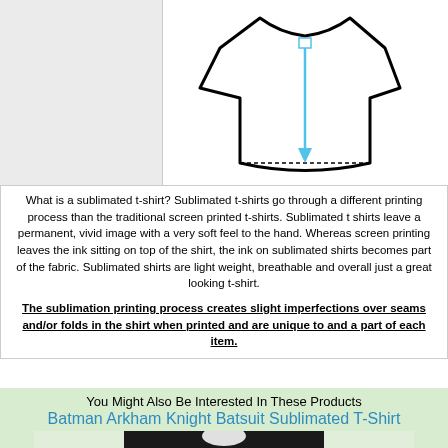[Figure (illustration): T-shirt diagram showing a measurement arrow pointing downward along the body of the shirt, with a small square marker at the top near the collar. The left portion of the image has a grey background with no content.]
What is a sublimated t-shirt?  Sublimated t-shirts go through a different printing process than the traditional screen printed t-shirts. Sublimated t shirts leave a permanent, vivid image with a very soft feel to the hand.  Whereas screen printing leaves the ink sitting on top of the shirt, the ink on sublimated shirts becomes part of the fabric. Sublimated shirts are light weight, breathable and overall just a great looking t-shirt.
The sublimation printing process creates slight imperfections over seams and/or folds in the shirt when printed and are unique to and a part of each item.
You Might Also Be Interested In These Products
Batman Arkham Knight Batsuit Sublimated T-Shirt
[Figure (photo): Photo of a Batman Arkham Knight Batsuit sublimated t-shirt, showing the front of the shirt with a dark bat armor design.]